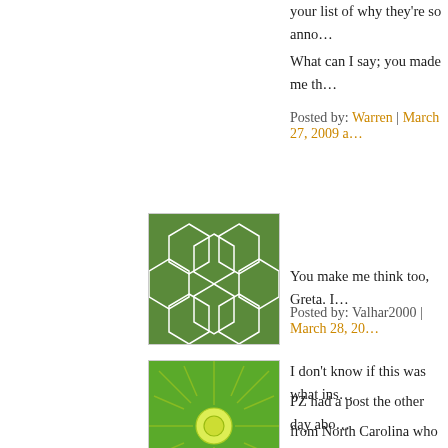your list of why they're so anno…
What can I say; you made me th…
Posted by: Warren | March 27, 2009 a…
[Figure (illustration): Green mosaic/honeycomb pattern avatar]
You make me think too, Greta. I…
Posted by: Valhar2000 | March 28, 20…
[Figure (illustration): Blue spiral/geometric pattern avatar]
Your second and third points are… are the things that annoy me mo… blog dialogs.
Posted by: the chaplain | March 28, 2…
[Figure (illustration): Green sunburst pattern avatar]
I don't know if this was what ins… PZ had a post the other day abo… from North Carolina who comm… pretending to be an atheist, and … there's no absolute right or wro…